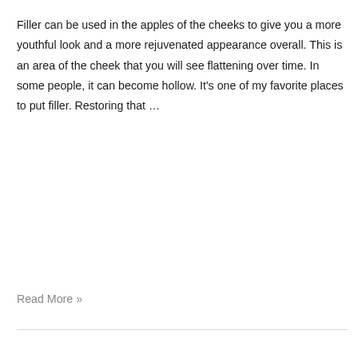Filler can be used in the apples of the cheeks to give you a more youthful look and a more rejuvenated appearance overall. This is an area of the cheek that you will see flattening over time. In some people, it can become hollow. It's one of my favorite places to put filler. Restoring that …
Read More »
What Is an Alar Base Reduction?
Rhinoplasty
Alar base reduction surgery is performed to make the nostrils less flared or rounded or to make the nose narrower at the nostrils. We can do one or both by making an incision around the side of the